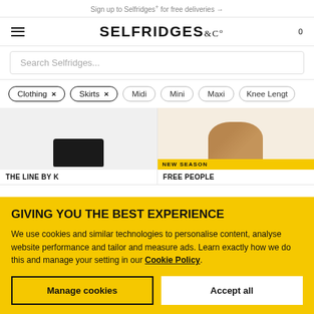Sign up to Selfridges+ for free deliveries →
[Figure (screenshot): Selfridges & Co logo with hamburger menu icon on the left and cart count '0' on the right]
Search Selfridges...
Clothing × Skirts × Midi Mini Maxi Knee Length
[Figure (photo): Two product cards showing skirts. Left: black skirt by THE LINE BY K. Right: brown/tan skirt by FREE PEOPLE with NEW SEASON badge.]
GIVING YOU THE BEST EXPERIENCE
We use cookies and similar technologies to personalise content, analyse website performance and tailor and measure ads. Learn exactly how we do this and manage your setting in our Cookie Policy.
Manage cookies
Accept all